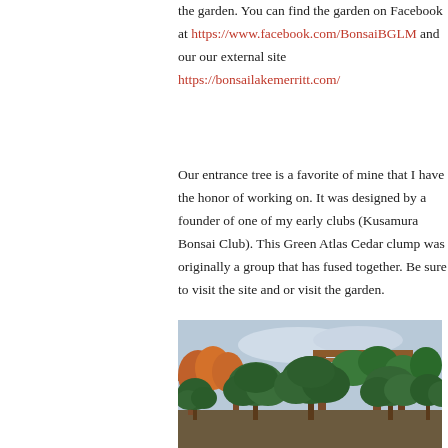the garden. You can find the garden on Facebook at https://www.facebook.com/BonsaiBGLM and our our external site https://bonsailakemerritt.com/
Our entrance tree is a favorite of mine that I have the honor of working on. It was designed by a founder of one of my early clubs (Kusamura Bonsai Club). This Green Atlas Cedar clump was originally a group that has fused together. Be sure to visit the site and or visit the garden.
[Figure (photo): Outdoor bonsai garden with multiple large bonsai trees and a wooden pergola structure in the background, surrounded by green foliage and autumn-colored trees.]